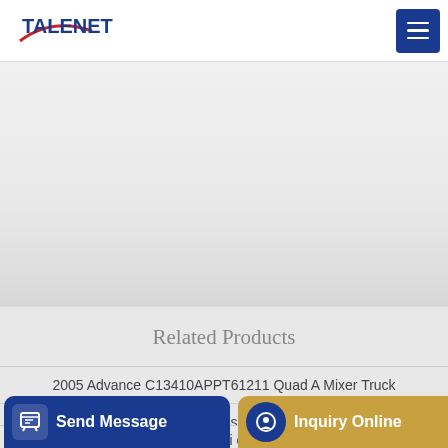TALENET
[Figure (photo): Website hero/banner area with light gray textured background]
Related Products
2005 Advance C13410APPT61211 Quad A Mixer Truck
Jual Beton Molen Hercules Concrete Mixer Mesin
Bauanlite 390L diesel mini concrete mixer for sale